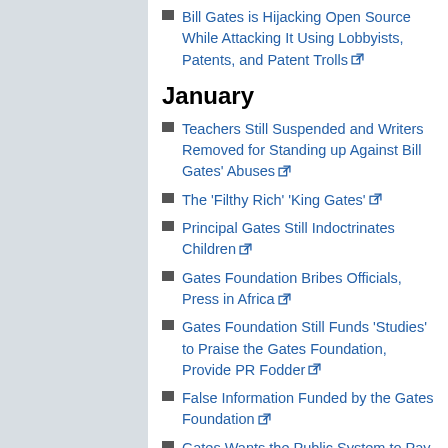Bill Gates is Hijacking Open Source While Attacking It Using Lobbyists, Patents, and Patent Trolls
January
Teachers Still Suspended and Writers Removed for Standing up Against Bill Gates' Abuses
The 'Filthy Rich' 'King Gates'
Principal Gates Still Indoctrinates Children
Gates Foundation Bribes Officials, Press in Africa
Gates Foundation Still Funds 'Studies' to Praise the Gates Foundation, Provide PR Fodder
False Information Funded by the Gates Foundation
Gates Wants the Public System to Pay the Bill
Bill Gates and His Father Are Looting the American Public
2011